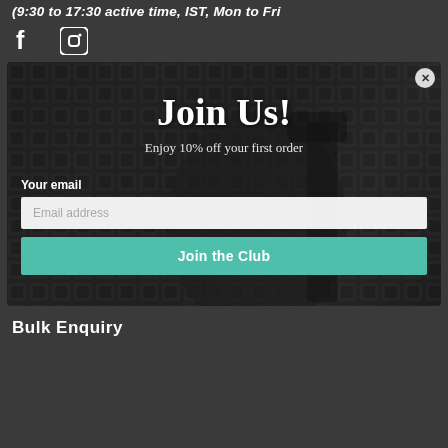(9:30 to 17:30 active time, IST, Mon to Fri
[Figure (other): Facebook and Instagram social media icons]
[Figure (other): Modal popup with background photo of professional headphones and microphone in a recording studio with acoustic foam. Contains 'Join Us!' title, subtitle 'Enjoy 10% off your first order', email input field, and 'Join the Club' button. Close (X) button in top right corner.]
Bulk Enquiry